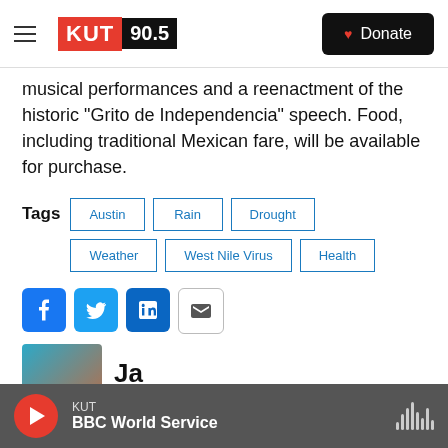KUT 90.5 | Donate
musical performances and a reenactment of the historic “Grito de Independencia” speech. Food, including traditional Mexican fare, will be available for purchase.
Tags: Austin | Rain | Drought | Weather | West Nile Virus | Health
[Figure (other): Social share buttons: Facebook, Twitter, LinkedIn, Email]
[Figure (photo): Author photo thumbnail (partial, cropped at bottom)]
KUT | BBC World Service (audio player bar)